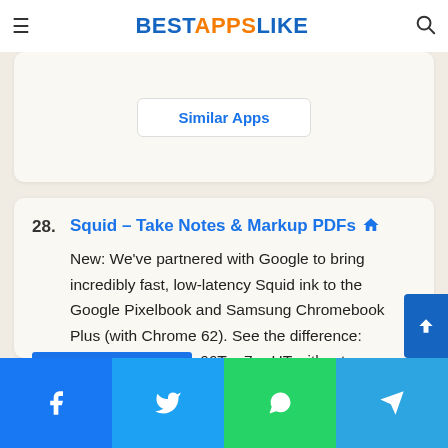BESTAPPSLIKE
Similar Apps
28. Squid – Take Notes & Markup PDFs
New: We've partnered with Google to bring incredibly fast, low-latency Squid ink to the Google Pixelbook and Samsung Chromebook Plus (with Chrome 62). See the difference: https://youtu.be/Oc66T_e7xwUT without handwritten notes naturally on your Android tablet, phone or Chromebook that supports Android apps! With Squid, you